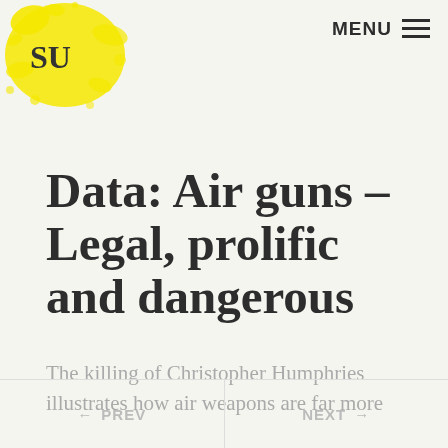[Figure (logo): Yellow ink splatter with stylized 'SU' logo text in top left corner]
MENU ≡
Data: Air guns – Legal, prolific and dangerous
The killing of Christopher Humphries illustrates how air weapons are far more
← PREV   NEXT →